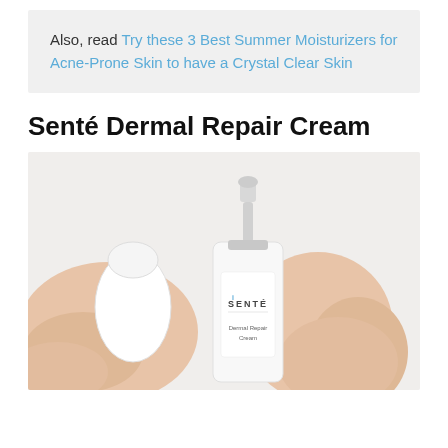Also, read Try these 3 Best Summer Moisturizers for Acne-Prone Skin to have a Crystal Clear Skin
Senté Dermal Repair Cream
[Figure (photo): Hands holding a white pump bottle of Senté Dermal Repair Cream, with the cap removed, against a light background.]